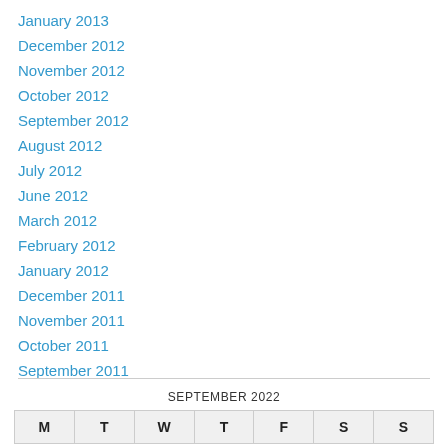January 2013
December 2012
November 2012
October 2012
September 2012
August 2012
July 2012
June 2012
March 2012
February 2012
January 2012
December 2011
November 2011
October 2011
September 2011
| M | T | W | T | F | S | S |
| --- | --- | --- | --- | --- | --- | --- |